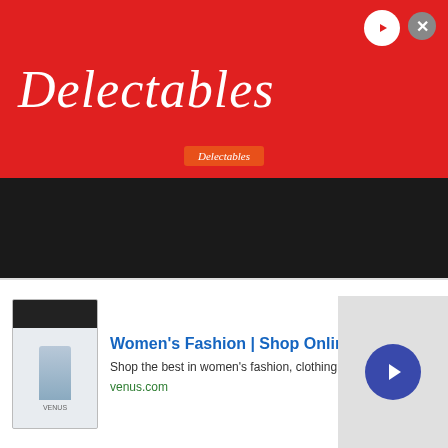[Figure (screenshot): Red Delectables advertisement banner with cursive white logo text and small orange badge at bottom center. Play button icon top right, close X button.]
[Figure (other): Cookie consent buttons area: 'Cookies Settings' outlined button with green text and 'Accept All Cookies' green filled button.]
[Figure (photo): Close-up photo of brown sugar in a glass jar with a metal spoon scooping it.]
[Figure (screenshot): Women's Fashion VENUS advertisement banner with thumbnail image, blue headline text, description text, green URL, and blue circular arrow button.]